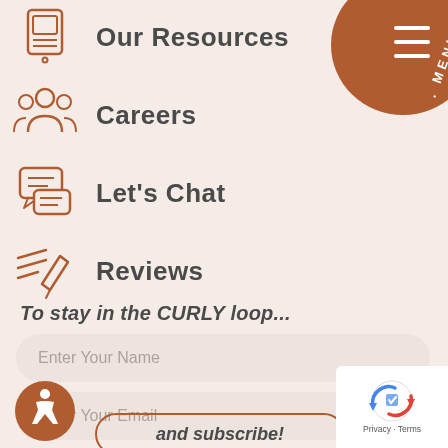[Figure (illustration): Navigation menu badge - brown circular shape with 'MENU' text rotated and hamburger menu icon, positioned top right]
Our Resources
Careers
Let's Chat
Reviews
To stay in the CURLY loop...
Enter Your Name
Enter Your Email
and subscribe!
[Figure (logo): Accessibility icon - wheelchair user symbol in brown circle, bottom left]
[Figure (logo): reCAPTCHA badge with robot icon and Privacy - Terms text, bottom right]